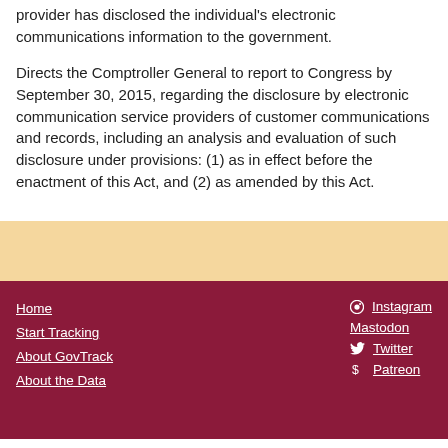provider has disclosed the individual's electronic communications information to the government.
Directs the Comptroller General to report to Congress by September 30, 2015, regarding the disclosure by electronic communication service providers of customer communications and records, including an analysis and evaluation of such disclosure under provisions: (1) as in effect before the enactment of this Act, and (2) as amended by this Act.
Home | Start Tracking | About GovTrack | About the Data | Instagram | Mastodon | Twitter | Patreon